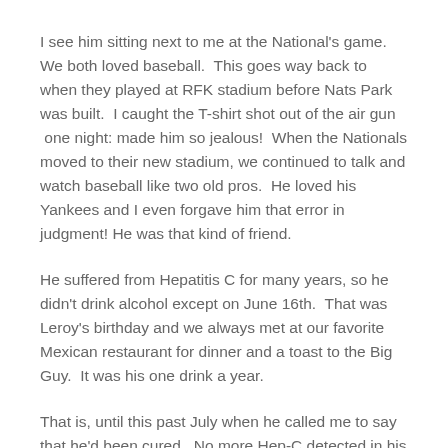I see him sitting next to me at the National's game.  We both loved baseball.  This goes way back to when they played at RFK stadium before Nats Park was built.  I caught the T-shirt shot out of the air gun  one night: made him so jealous!  When the Nationals moved to their new stadium, we continued to talk and watch baseball like two old pros.  He loved his Yankees and I even forgave him that error in judgment! He was that kind of friend.
He suffered from Hepatitis C for many years, so he didn't drink alcohol except on June 16th.  That was Leroy's birthday and we always met at our favorite Mexican restaurant for dinner and a toast to the Big Guy.  It was his one drink a year.
That is, until this past July when he called me to say that he'd been cured.  No more Hep-C detected in his body.  This called for a celebration and since it was also close to his birthday, back to the Mexican restaurant for our usual margarita toast and tacos.  It was a joyous night.
Two days later he called to say he was in need of a colonoscopy. His voice had a sense of urgency to it.  The scope